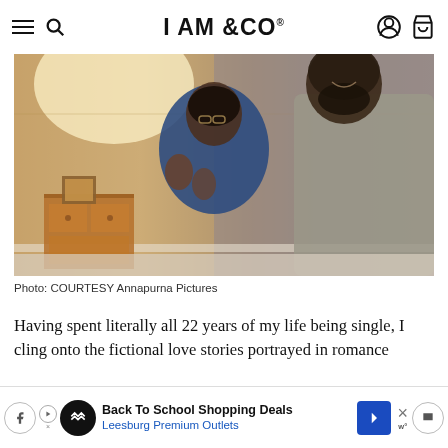I AM &CO
[Figure (photo): A couple, a woman in a blue top and a man in a grey shirt, sitting together and smiling, appearing to watch something. A wooden dresser with a framed photo is visible in the background.]
Photo: COURTESY Annapurna Pictures
Having spent literally all 22 years of my life being single, I cling onto the fictional love stories portrayed in romance
[Figure (other): Advertisement banner: Back To School Shopping Deals - Leesburg Premium Outlets]